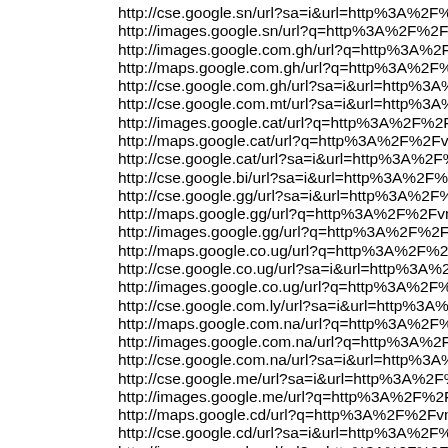http://cse.google.sn/url?sa=i&url=http%3A%2F%2Fvncado.co...
http://images.google.sn/url?q=http%3A%2F%2Fvncado.com
http://images.google.com.gh/url?q=http%3A%2F%2Fvncado.c...
http://maps.google.com.gh/url?q=http%3A%2F%2Fvncado.co...
http://cse.google.com.gh/url?sa=i&url=http%3A%2F%2Fvnca...
http://cse.google.com.mt/url?sa=i&url=http%3A%2F%2Fvnca...
http://images.google.cat/url?q=http%3A%2F%2Fvncado.com
http://maps.google.cat/url?q=http%3A%2F%2Fvncado.com
http://cse.google.cat/url?sa=i&url=http%3A%2F%2Fvncado.c...
http://cse.google.bi/url?sa=i&url=http%3A%2F%2Fvncado.co...
http://cse.google.gg/url?sa=i&url=http%3A%2F%2Fvncado.co...
http://maps.google.gg/url?q=http%3A%2F%2Fvncado.com
http://images.google.gg/url?q=http%3A%2F%2Fvncado.com
http://maps.google.co.ug/url?q=http%3A%2F%2Fvncado.com...
http://cse.google.co.ug/url?sa=i&url=http%3A%2F%2Fvncado...
http://images.google.co.ug/url?q=http%3A%2F%2Fvncado.co...
http://cse.google.com.ly/url?sa=i&url=http%3A%2F%2Fvncado...
http://maps.google.com.na/url?q=http%3A%2F%2Fvncado.co...
http://images.google.com.na/url?q=http%3A%2F%2Fvncado.c...
http://cse.google.com.na/url?sa=i&url=http%3A%2F%2Fvnca...
http://cse.google.me/url?sa=i&url=http%3A%2F%2Fvncado.c...
http://images.google.me/url?q=http%3A%2F%2Fvncado.com
http://maps.google.cd/url?q=http%3A%2F%2Fvncado.com
http://cse.google.cd/url?sa=i&url=http%3A%2F%2Fvncado.co...
http://images.google.cd/url?q=http%3A%2F%2Fvncado.com